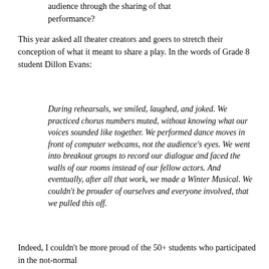audience through the sharing of that performance?
This year asked all theater creators and goers to stretch their conception of what it meant to share a play. In the words of Grade 8 student Dillon Evans:
During rehearsals, we smiled, laughed, and joked. We practiced chorus numbers muted, without knowing what our voices sounded like together. We performed dance moves in front of computer webcams, not the audience's eyes. We went into breakout groups to record our dialogue and faced the walls of our rooms instead of our fellow actors. And eventually, after all that work, we made a Winter Musical. We couldn't be prouder of ourselves and everyone involved, that we pulled this off.
Indeed, I couldn't be more proud of the 50+ students who participated in the not-normal